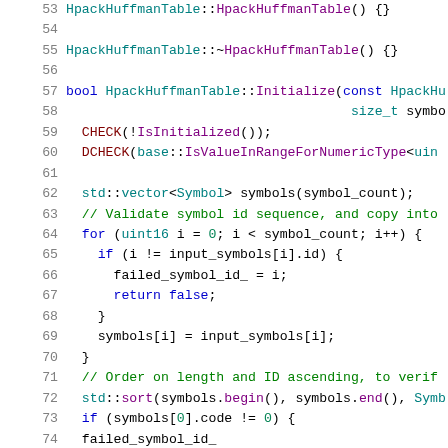[Figure (screenshot): C++ source code snippet showing lines 53-73 of a file implementing HpackHuffmanTable class methods including constructor, destructor, and Initialize function with symbol validation logic.]